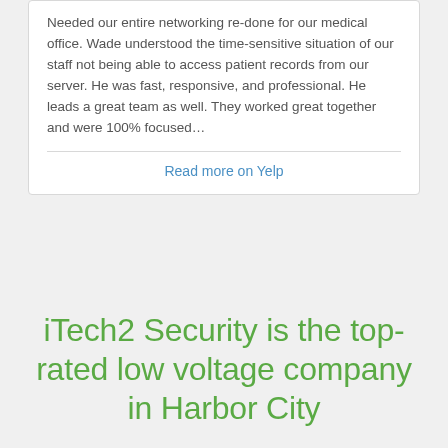Needed our entire networking re-done for our medical office. Wade understood the time-sensitive situation of our staff not being able to access patient records from our server. He was fast, responsive, and professional. He leads a great team as well. They worked great together and were 100% focused…
Read more on Yelp
iTech2 Security is the top-rated low voltage company in Harbor City